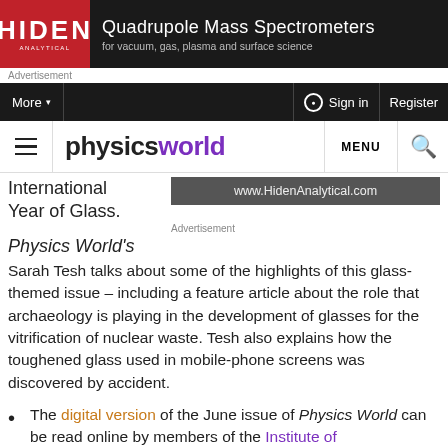[Figure (screenshot): Hiden Analytical advertisement banner with logo and text 'Quadrupole Mass Spectrometers for vacuum, gas, plasma and surface science']
Advertisement
More ▾   Sign in   Register
physics world  MENU 🔍
International Year of Glass.
www.HidenAnalytical.com
Advertisement
Physics World's
Sarah Tesh talks about some of the highlights of this glass-themed issue – including a feature article about the role that archaeology is playing in the development of glasses for the vitrification of nuclear waste. Tesh also explains how the toughened glass used in mobile-phone screens was discovered by accident.
The digital version of the June issue of Physics World can be read online by members of the Institute of Physics. If you are not yet a member, all the above content…